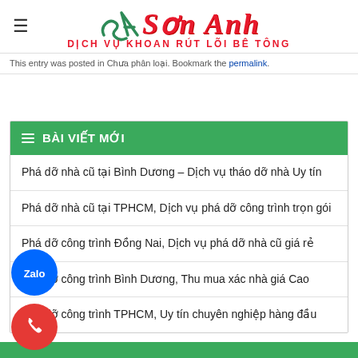[Figure (logo): Son Anh logo with green SA emblem and red serif text, subtitle DICH VU KHOAN RUT LOI BE TONG in red]
This entry was posted in Chưa phân loại. Bookmark the permalink.
BÀI VIẾT MỚI
Phá dỡ nhà cũ tại Bình Dương – Dịch vụ tháo dỡ nhà Uy tín
Phá dỡ nhà cũ tại TPHCM, Dịch vụ phá dỡ công trình trọn gói
Phá dỡ công trình Đồng Nai, Dịch vụ phá dỡ nhà cũ giá rẻ
Phá dỡ công trình Bình Dương, Thu mua xác nhà giá Cao
Phá dỡ công trình TPHCM, Uy tín chuyên nghiệp hàng đầu